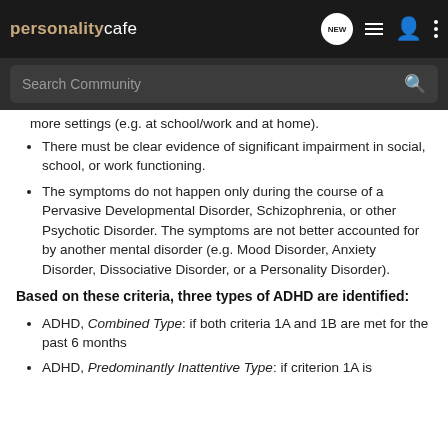personality cafe — navigation header with NEW, list, user, and menu icons
Search Community
more settings (e.g. at school/work and at home).
There must be clear evidence of significant impairment in social, school, or work functioning.
The symptoms do not happen only during the course of a Pervasive Developmental Disorder, Schizophrenia, or other Psychotic Disorder. The symptoms are not better accounted for by another mental disorder (e.g. Mood Disorder, Anxiety Disorder, Dissociative Disorder, or a Personality Disorder).
Based on these criteria, three types of ADHD are identified:
ADHD, Combined Type: if both criteria 1A and 1B are met for the past 6 months
ADHD, Predominantly Inattentive Type: if criterion 1A is